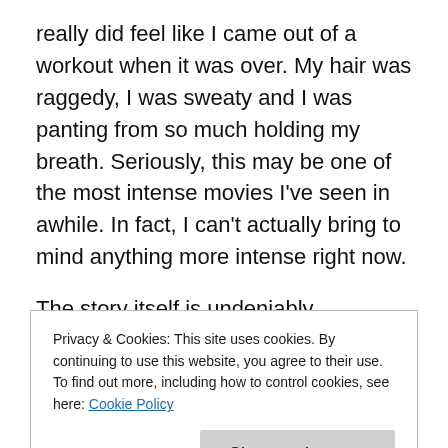really did feel like I came out of a workout when it was over. My hair was raggedy, I was sweaty and I was panting from so much holding my breath. Seriously, this may be one of the most intense movies I've seen in awhile. In fact, I can't actually bring to mind anything more intense right now.
The story itself is undeniably fascinating. In case you're living under a rock, it's the true story of how the CIA found and killed Osama Bin Ladin. Based on the 12+ years of (fake name because she is actually still an active CIA
Privacy & Cookies: This site uses cookies. By continuing to use this website, you agree to their use.
To find out more, including how to control cookies, see here: Cookie Policy